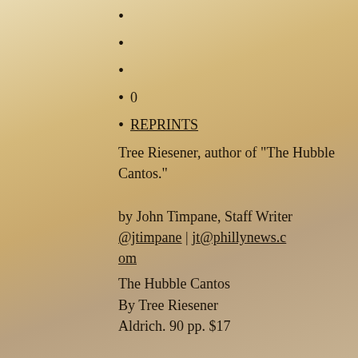0
REPRINTS
Tree Riesener, author of "The Hubble Cantos."
by John Timpane, Staff Writer @jtimpane | jt@phillynews.com
The Hubble Cantos
By Tree Riesener
Aldrich. 90 pp. $17
This book is a Nantucket sleigh ride through the universe. Ambitious, funny, fearless,
The Hubble Cantos shows us why we need poetry as well as science.
With humor, wonder, and openness